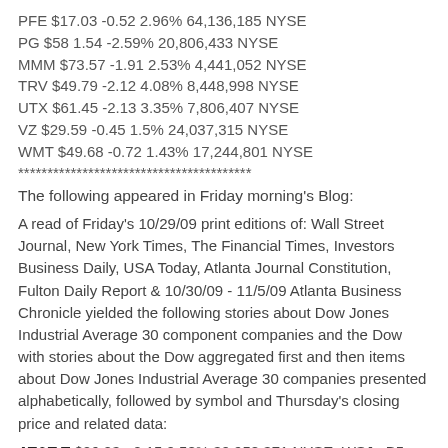PFE $17.03 -0.52 2.96% 64,136,185 NYSE
PG $58 1.54 -2.59% 20,806,433 NYSE
MMM $73.57 -1.91 2.53% 4,441,052 NYSE
TRV $49.79 -2.12 4.08% 8,448,998 NYSE
UTX $61.45 -2.13 3.35% 7,806,407 NYSE
VZ $29.59 -0.45 1.5% 24,037,315 NYSE
WMT $49.68 -0.72 1.43% 17,244,801 NYSE
****************************************
The following appeared in Friday morning's Blog:
A read of Friday's 10/29/09 print editions of: Wall Street Journal, New York Times, The Financial Times, Investors Business Daily, USA Today, Atlanta Journal Constitution, Fulton Daily Report & 10/30/09 - 11/5/09 Atlanta Business Chronicle yielded the following stories about Dow Jones Industrial Average 30 component companies and the Dow with stories about the Dow aggregated first and then items about Dow Jones Industrial Average 30 companies presented alphabetically, followed by symbol and Thursday's closing price and related data:
AT&T T $26.23 +0.15 0.58% 30,958,371 NYSE: WSJ pB5